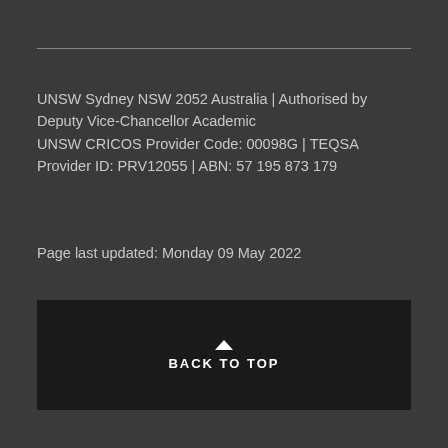UNSW Sydney NSW 2052 Australia | Authorised by Deputy Vice-Chancellor Academic
UNSW CRICOS Provider Code: 00098G | TEQSA Provider ID: PRV12055 | ABN: 57 195 873 179
Page last updated: Monday 09 May 2022
[Figure (other): Back to top button with upward caret arrow and text BACK TO TOP on dark black background]